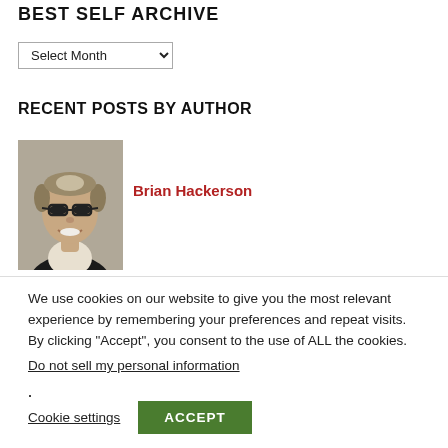BEST SELF ARCHIVE
Select Month
RECENT POSTS BY AUTHOR
[Figure (photo): Headshot of Brian Hackerson, a middle-aged man with glasses and short graying hair, wearing a dark sweater, smiling.]
Brian Hackerson
You Are Awesome
We use cookies on our website to give you the most relevant experience by remembering your preferences and repeat visits. By clicking “Accept”, you consent to the use of ALL the cookies.
Do not sell my personal information.
Cookie settings  ACCEPT